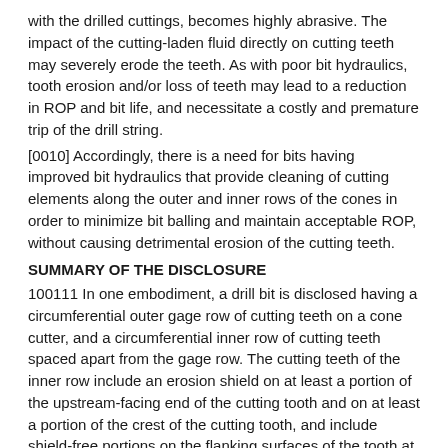with the drilled cuttings, becomes highly abrasive. The impact of the cutting-laden fluid directly on cutting teeth may severely erode the teeth. As with poor bit hydraulics, tooth erosion and/or loss of teeth may lead to a reduction in ROP and bit life, and necessitate a costly and premature trip of the drill string.
[0010] Accordingly, there is a need for bits having improved bit hydraulics that provide cleaning of cutting elements along the outer and inner rows of the cones in order to minimize bit balling and maintain acceptable ROP, without causing detrimental erosion of the cutting teeth.
SUMMARY OF THE DISCLOSURE
100111 In one embodiment, a drill bit is disclosed having a circumferential outer gage row of cutting teeth on a cone cutter, and a circumferential inner row of cutting teeth spaced apart from the gage row. The cutting teeth of the inner row include an erosion shield on at least a portion of the upstream-facing end of the cutting tooth and on at least a portion of the crest of the cutting tooth, and include shield-free portions on the flanking surfaces of the tooth at locations disposed between the root and its crest. In certain embodiments, the outer row of gage cutting teeth